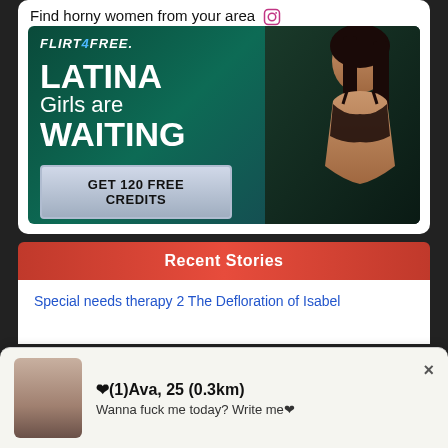Find horny women from your area
[Figure (photo): Flirt4Free advertisement banner featuring text 'LATINA Girls are WAITING' and 'GET 120 FREE CREDITS' button with a woman in lingerie]
Recent Stories
Special needs therapy 2 The Defloration of Isabel
(1)Ava, 25 (0.3km)
Wanna fuck me today? Write me